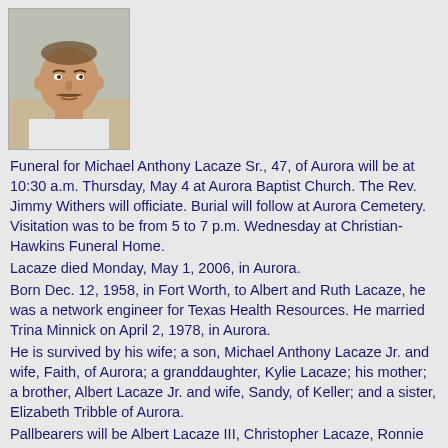[Figure (photo): Headshot photo of Michael Anthony Lacaze Sr., a middle-aged man with a mustache, wearing a white shirt, outdoors background.]
Funeral for Michael Anthony Lacaze Sr., 47, of Aurora will be at 10:30 a.m. Thursday, May 4 at Aurora Baptist Church. The Rev. Jimmy Withers will officiate. Burial will follow at Aurora Cemetery. Visitation was to be from 5 to 7 p.m. Wednesday at Christian-Hawkins Funeral Home.
Lacaze died Monday, May 1, 2006, in Aurora.
Born Dec. 12, 1958, in Fort Worth, to Albert and Ruth Lacaze, he was a network engineer for Texas Health Resources. He married Trina Minnick on April 2, 1978, in Aurora.
He is survived by his wife; a son, Michael Anthony Lacaze Jr. and wife, Faith, of Aurora; a granddaughter, Kylie Lacaze; his mother; a brother, Albert Lacaze Jr. and wife, Sandy, of Keller; and a sister, Elizabeth Tribble of Aurora.
Pallbearers will be Albert Lacaze III, Christopher Lacaze, Ronnie Alcorn, Bill Hoffman, Glenn Croft and Frank Carroll.
Published Thursday, May 4, 2006
LaFountain, Margaret Chapmon
1937-2006